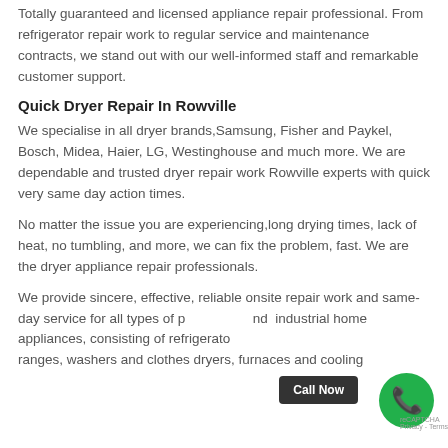Totally guaranteed and licensed appliance repair professional. From refrigerator repair work to regular service and maintenance contracts, we stand out with our well-informed staff and remarkable customer support.
Quick Dryer Repair In Rowville
We specialise in all dryer brands,Samsung, Fisher and Paykel, Bosch, Midea, Haier, LG, Westinghouse and much more. We are dependable and trusted dryer repair work Rowville experts with quick very same day action times.
No matter the issue you are experiencing,long drying times, lack of heat, no tumbling, and more, we can fix the problem, fast. We are the dryer appliance repair professionals.
We provide sincere, effective, reliable onsite repair work and same-day service for all types of p nd industrial home appliances, consisting of refrigerato ranges, washers and clothes dryers, furnaces and cooling